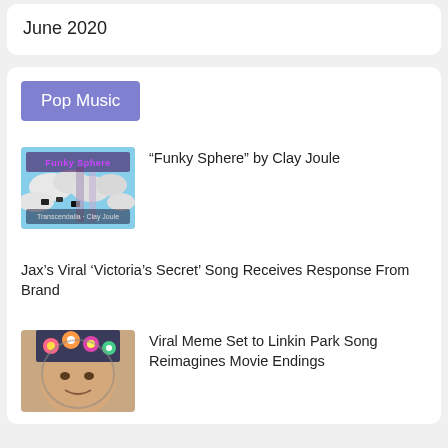June 2020
Pop Music
“Funky Sphere” by Clay Joule
Jax’s Viral ‘Victoria’s Secret’ Song Receives Response From Brand
[Figure (photo): Album cover for a pop music release showing clouds and cows, text 'Funky Sphere' and 'Clay Joule']
Viral Meme Set to Linkin Park Song Reimagines Movie Endings
[Figure (photo): Photo of a person wearing a flower crown helmet or headpiece]